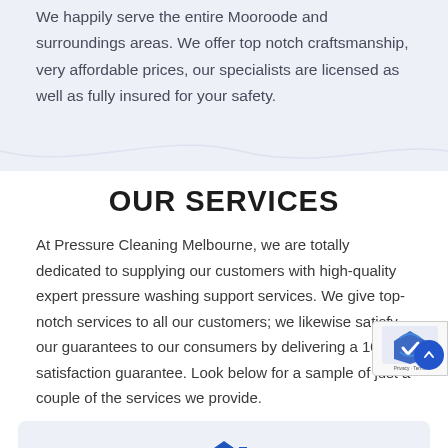We happily serve the entire Mooroode and surroundings areas. We offer top notch craftsmanship, very affordable prices, our specialists are licensed as well as fully insured for your safety.
OUR SERVICES
At Pressure Cleaning Melbourne, we are totally dedicated to supplying our customers with high-quality expert pressure washing support services. We give top-notch services to all our customers; we likewise satisfy our guarantees to our consumers by delivering a 100% satisfaction guarantee. Look below for a sample of just a couple of the services we provide.
[Figure (illustration): A blue house/roof icon at the bottom of the page within a light blue card section]